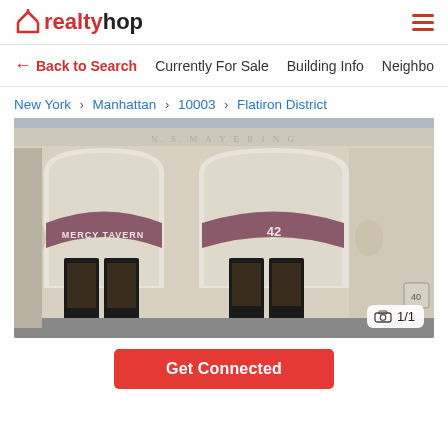realtyhop
← Back to Search   Currently For Sale   Building Info   Neighbo
New York › Manhattan › 10003 › Flatiron District
[Figure (photo): Exterior facade of a building at 42, featuring ornate stonework arches with two dark awnings reading 'MERCY TAVERN' and '42', with decorative carved details and black double doors.]
Get Connected